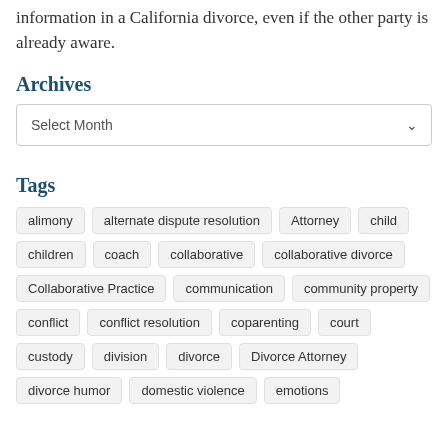information in a California divorce, even if the other party is already aware.
Archives
Select Month
Tags
alimony
alternate dispute resolution
Attorney
child
children
coach
collaborative
collaborative divorce
Collaborative Practice
communication
community property
conflict
conflict resolution
coparenting
court
custody
division
divorce
Divorce Attorney
divorce humor
domestic violence
emotions